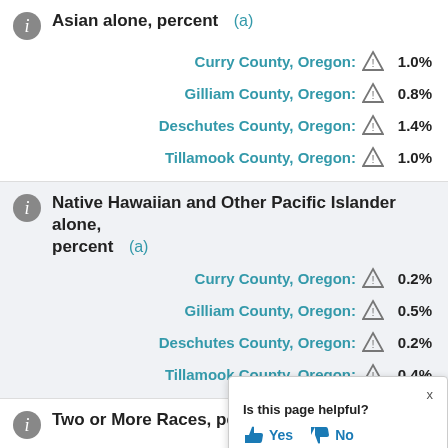Asian alone, percent (a)
Curry County, Oregon: 1.0%
Gilliam County, Oregon: 0.8%
Deschutes County, Oregon: 1.4%
Tillamook County, Oregon: 1.0%
Native Hawaiian and Other Pacific Islander alone, percent (a)
Curry County, Oregon: 0.2%
Gilliam County, Oregon: 0.5%
Deschutes County, Oregon: 0.2%
Tillamook County, Oregon: 0.4%
Two or More Races, percent
Curry County, Oregon:
Gilliam County, Oregon:
Is this page helpful? Yes No